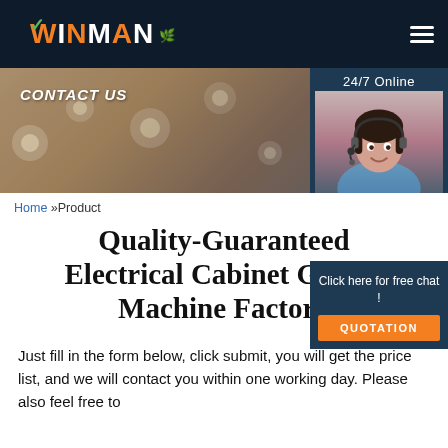[Figure (logo): WINMAN company logo in orange text with green checkmark and green leaf accent on dark navy background]
[Figure (photo): Contact Us banner with cityscape background and 24/7 online chat agent photo overlay with QUOTATION button]
Home »Product
Quality-Guaranteed Electrical Cabinet Gasket Machine Factory
Just fill in the form below, click submit, you will get the price list, and we will contact you within one working day. Please also feel free to